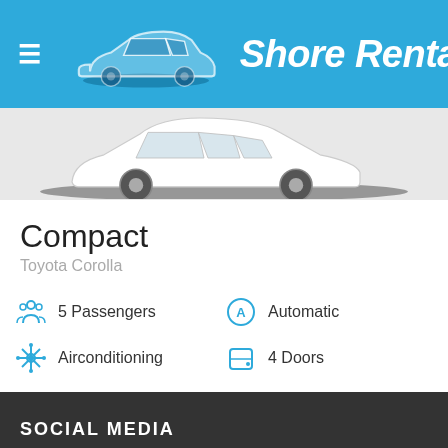Shore Renta
[Figure (illustration): A white sedan car silhouette with shadow underneath, on a light gray background]
Compact
Toyota Corolla
5 Passengers
Automatic
Airconditioning
4 Doors
More Details
SOCIAL MEDIA